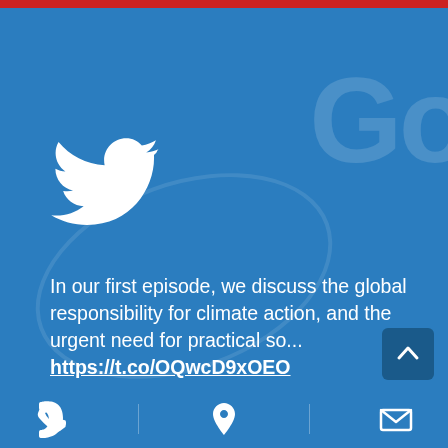[Figure (illustration): Twitter bird logo in white on blue background]
In our first episode, we discuss the global responsibility for climate action, and the urgent need for practical so...
https://t.co/OQwcD9xOEO
[Figure (illustration): Footer navigation bar with phone icon, map pin icon, and envelope/email icon on blue background]